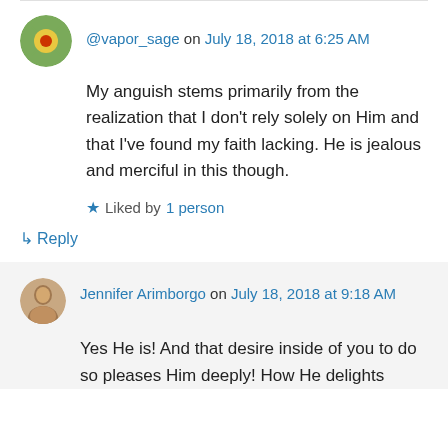@vapor_sage on July 18, 2018 at 6:25 AM
My anguish stems primarily from the realization that I don't rely solely on Him and that I've found my faith lacking. He is jealous and merciful in this though.
Liked by 1 person
Reply
Jennifer Arimborgo on July 18, 2018 at 9:18 AM
Yes He is! And that desire inside of you to do so pleases Him deeply! How He delights